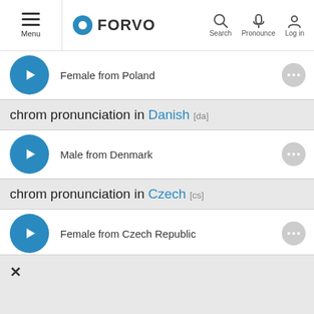Forvo — Menu, Search, Pronounce, Log in
Female from Poland
chrom pronunciation in Danish [da]
Male from Denmark
chrom pronunciation in Czech [cs]
Female from Czech Republic